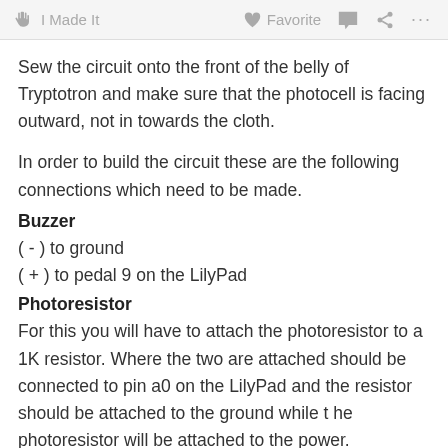I Made It   Favorite   ...
Sew the circuit onto the front of the belly of Tryptotron and make sure that the photocell is facing outward, not in towards the cloth.
In order to build the circuit these are the following connections which need to be made.
Buzzer
( - ) to ground
( + ) to pedal 9 on the LilyPad
Photoresistor
For this you will have to attach the photoresistor to a 1K resistor. Where the two are attached should be connected to pin a0 on the LilyPad and the resistor should be attached to the ground while t he photoresistor will be attached to the power.
Battery